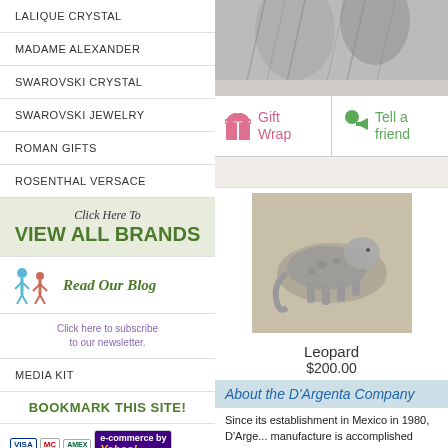LALIQUE CRYSTAL
MADAME ALEXANDER
SWAROVSKI CRYSTAL
SWAROVSKI JEWELRY
ROMAN GIFTS
ROSENTHAL VERSACE
[Figure (illustration): Click Here To VIEW ALL BRANDS button with green background]
[Figure (illustration): Read Our Blog with two human figure icons in blue and red]
Click here to subscribe to our newsletter.
MEDIA KIT
BOOKMARK THIS SITE!
[Figure (illustration): Payment icons: Visa, Mastercard, American Express, e-commerce by Yahoo]
[Figure (photo): Top portion of a silver metallic animal figurine (partially cropped at top)]
[Figure (illustration): Gift Wrap icon - pink gift box icon with Gift Wrap text in pink]
[Figure (illustration): Tell a friend icon - green person with megaphone icon]
[Figure (photo): Leopard silver figurine product photo]
Leopard
$200.00
About the D'Argenta Company
Since its establishment in Mexico in 1980, D'Arge... manufacture is accomplished through a proprietan... of more than 200 models is technically flawless y... Pre-Hispanic Art --authorized by the National Mu...